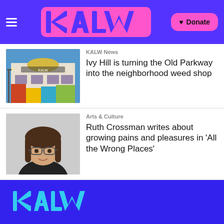KALW — Donate
[Figure (photo): Photo of the Old Parkway theater building exterior with graffiti-covered facade and colorful murals]
KALW News
Ivy Hill is turning the Old Parkway into the neighborhood weed shop
[Figure (photo): Headshot photo of Ruth Crossman, a young woman with dark hair and glasses wearing a black top, smiling]
Arts & Culture
Ruth Crossman writes about growing pains and pleasures in 'All the Wrong Places'
[Figure (logo): KALW logo in cyan on blue background]
© 2022 KALW 91.7 FM Bay Area
KALW
Revolutions Per Minute